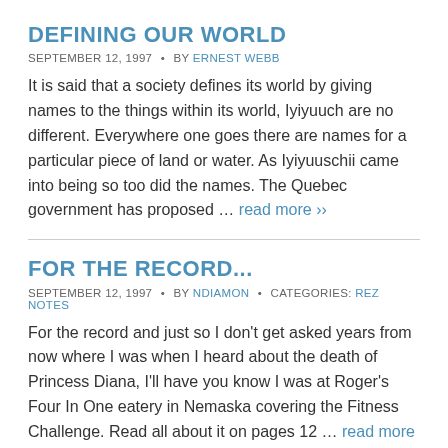DEFINING OUR WORLD
SEPTEMBER 12, 1997  •  BY ERNEST WEBB
It is said that a society defines its world by giving names to the things within its world, Iyiyuuch are no different. Everywhere one goes there are names for a particular piece of land or water. As Iyiyuuschii came into being so too did the names. The Quebec government has proposed … read more ››
FOR THE RECORD...
SEPTEMBER 12, 1997  •  BY NDIAMON  •  CATEGORIES: REZ NOTES
For the record and just so I don't get asked years from now where I was when I heard about the death of Princess Diana, I'll have you know I was at Roger's Four In One eatery in Nemaska covering the Fitness Challenge. Read all about it on pages 12 … read more ››